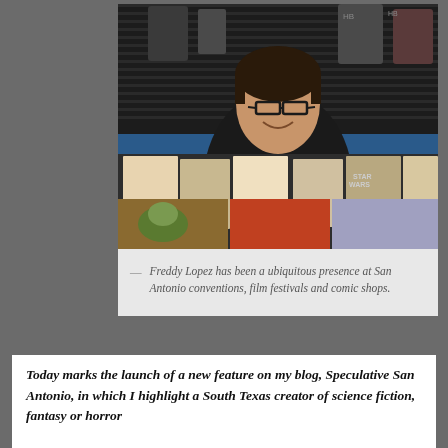[Figure (photo): A man with glasses smiling and holding a small figurine (resembling Groot) at a comic shop counter, with action figures and comic books on display behind and in front of him.]
— Freddy Lopez has been a ubiquitous presence at San Antonio conventions, film festivals and comic shops.
Today marks the launch of a new feature on my blog, Speculative San Antonio, in which I highlight a South Texas creator of science fiction, fantasy or horror